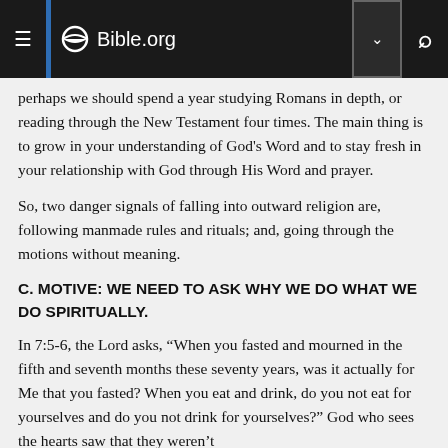Bible.org
perhaps we should spend a year studying Romans in depth, or reading through the New Testament four times. The main thing is to grow in your understanding of God's Word and to stay fresh in your relationship with God through His Word and prayer.
So, two danger signals of falling into outward religion are, following manmade rules and rituals; and, going through the motions without meaning.
C. MOTIVE: WE NEED TO ASK WHY WE DO WHAT WE DO SPIRITUALLY.
In 7:5-6, the Lord asks, “When you fasted and mourned in the fifth and seventh months these seventy years, was it actually for Me that you fasted? When you eat and drink, do you not eat for yourselves and do you not drink for yourselves?” God who sees the hearts saw that they weren’t